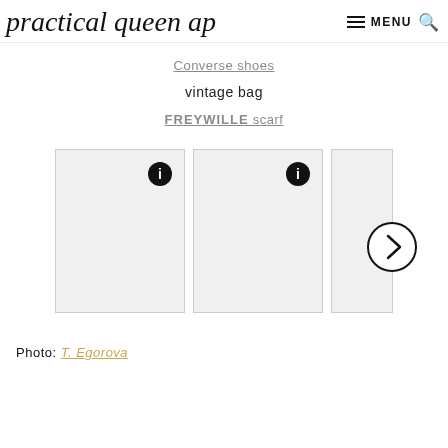practical queen ap | MENU
Converse shoes
vintage bag
FREYWILLE scarf
[Figure (photo): Two clothing/product images shown side by side in a gallery carousel with info (i) icons, and a next arrow button on the right side.]
Photo: T. Egorova